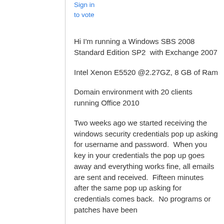Sign in
to vote
Hi I'm running a Windows SBS 2008 Standard Edition SP2  with Exchange 2007
Intel Xenon E5520 @2.27GZ, 8 GB of Ram
Domain environment with 20 clients running Office 2010
Two weeks ago we started receiving the windows security credentials pop up asking for username and password.  When you key in your credentials the pop up goes away and everything works fine, all emails are sent and received.  Fifteen minutes after the same pop up asking for credentials comes back.  No programs or patches have been